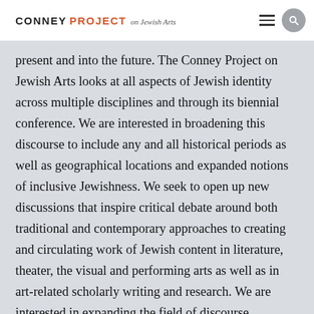CONNEY PROJECT on Jewish Arts
present and into the future. The Conney Project on Jewish Arts looks at all aspects of Jewish identity across multiple disciplines and through its biennial conference. We are interested in broadening this discourse to include any and all historical periods as well as geographical locations and expanded notions of inclusive Jewishness. We seek to open up new discussions that inspire critical debate around both traditional and contemporary approaches to creating and circulating work of Jewish content in literature, theater, the visual and performing arts as well as in art-related scholarly writing and research. We are interested in expanding the field of discourse surrounding Jewish identity in the histories and visual cultures of artmaking, scholarship, literature,